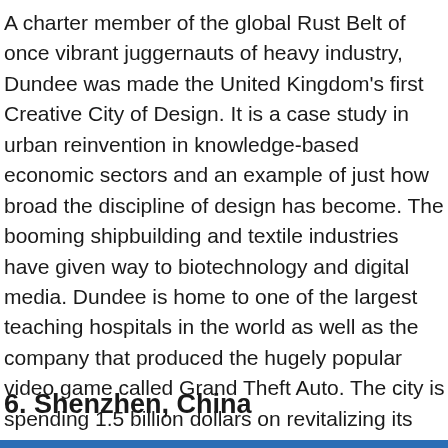A charter member of the global Rust Belt of once vibrant juggernauts of heavy industry, Dundee was made the United Kingdom's first Creative City of Design. It is a case study in urban reinvention in knowledge-based economic sectors and an example of just how broad the discipline of design has become. The booming shipbuilding and textile industries have given way to biotechnology and digital media. Dundee is home to one of the largest teaching hospitals in the world as well as the company that produced the hugely popular video game called Grand Theft Auto. The city is spending 1.5 billion dollars on revitalizing its waterfront, including a striking Museum Of Design with the goal of making the city an international design center, creatively financed by the government and private sector funding.
6. Shenzhen, China